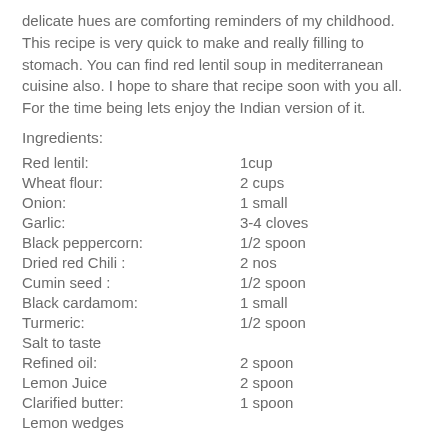delicate hues are comforting reminders of my childhood. This recipe is very quick to make and really filling to stomach. You can find red lentil soup in mediterranean cuisine also. I hope to share that recipe soon with you all. For the time being lets enjoy the Indian version of it.
Ingredients:
| Red lentil: | 1cup |
| Wheat flour: | 2 cups |
| Onion: | 1 small |
| Garlic: | 3-4 cloves |
| Black peppercorn: | 1/2 spoon |
| Dried red Chili : | 2 nos |
| Cumin seed : | 1/2 spoon |
| Black cardamom: | 1 small |
| Turmeric: | 1/2 spoon |
| Salt to taste |  |
| Refined oil: | 2 spoon |
| Lemon Juice | 2 spoon |
| Clarified butter: | 1 spoon |
| Lemon wedges |  |